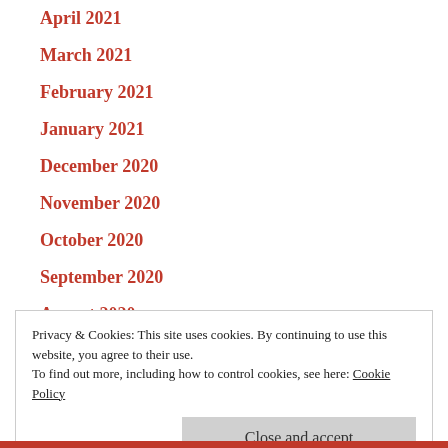April 2021
March 2021
February 2021
January 2021
December 2020
November 2020
October 2020
September 2020
August 2020
July 2020
June 2020
Privacy & Cookies: This site uses cookies. By continuing to use this website, you agree to their use. To find out more, including how to control cookies, see here: Cookie Policy
Close and accept